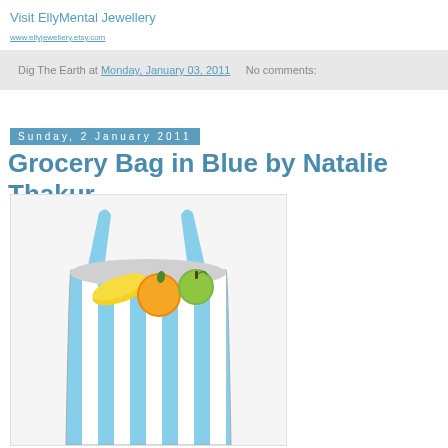Visit EllyMental Jewellery
Dig The Earth at Monday, January 03, 2011   No comments:
Sunday, 2 January 2011
Grocery Bag in Blue by Natalie Thakur
[Figure (photo): A blue and white striped reusable grocery bag filled with fruits including an orange, green apple, and bananas, shown on a white background.]